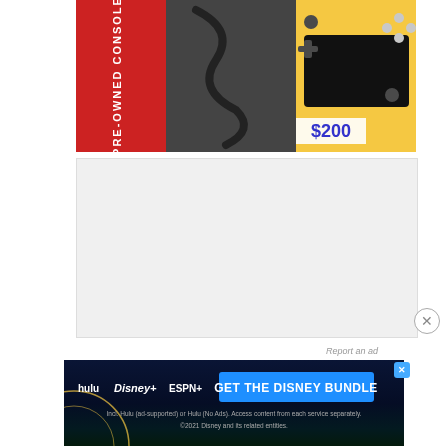[Figure (photo): Pre-owned Nintendo Switch Lite in yellow color with charger cable and red Pre-Owned Console box, photographed on a dark wooden surface. Price tag showing $200 visible on lower right of image.]
$200
[Figure (other): Light gray advertisement placeholder rectangle]
Report an ad
[Figure (screenshot): Disney Bundle advertisement banner with Hulu, Disney+, and ESPN+ logos and text GET THE DISNEY BUNDLE. Fine print: Incl. Hulu (ad-supported) or Hulu (No Ads). Access content from each service separately. ©2021 Disney and its related entities.]